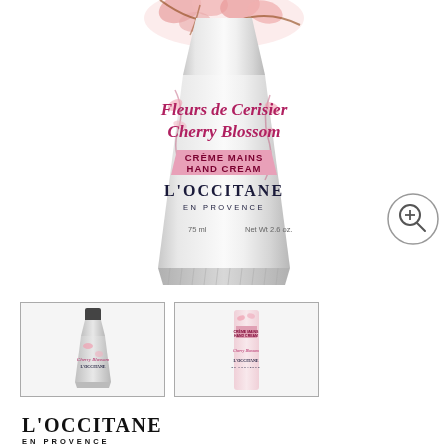[Figure (photo): Main product image of L'Occitane Cherry Blossom Hand Cream 75ml tube, silver with pink floral design and pink script text 'Fleurs de Cerisier Cherry Blossom', with a pink label reading 'CREME MAINS HAND CREAM' and L'OCCITANE EN PROVENCE branding. 75ml / Net Wt 2.6 oz printed at bottom.]
[Figure (photo): Zoom icon circle with magnifying glass plus symbol, in bottom-right of main image area]
[Figure (photo): Thumbnail 1: front view of L'Occitane Cherry Blossom Hand Cream 75ml tube standing upright, dark cap, floral design]
[Figure (photo): Thumbnail 2: L'Occitane Cherry Blossom Hand Cream tube lying flat, showing pink side label]
[Figure (logo): L'OCCITANE EN PROVENCE brand logo in black serif and sans-serif text]
L'Occitane Cherry Blossom Hand Cream 75ml